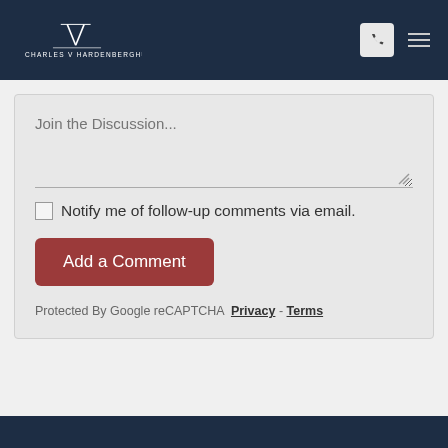[Figure (logo): Charles V Hardenbergh PC law firm logo in white on dark navy header bar]
Join the Discussion...
Notify me of follow-up comments via email.
Add a Comment
Protected By Google reCAPTCHA   Privacy - Terms